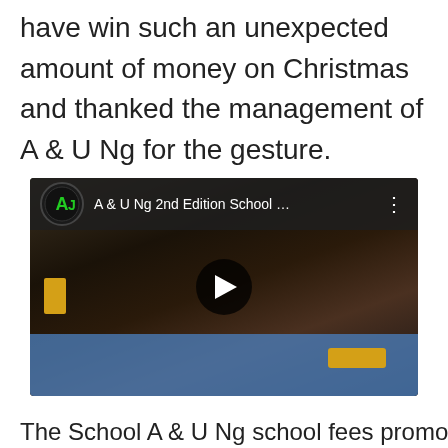have win such an unexpected amount of money on Christmas and thanked the management of A & U Ng for the gesture.
[Figure (screenshot): Embedded YouTube video thumbnail showing 'A & U Ng 2nd Edition School ...' with a play button overlay, featuring a person at a blue table with items on it.]
The School A & U Ng school fees promo